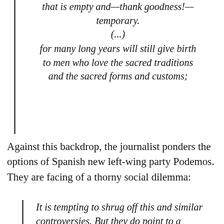A vain yesterday will engender a tomorrow that is empty and—thank goodness!—temporary.
(...)
for many long years will still give birth to men who love the sacred traditions and the sacred forms and customs;
Against this backdrop, the journalist ponders the options of Spanish new left-wing party Podemos. They are facing of a thorny social dilemma:
It is tempting to shrug off this and similar controversies. But they do point to a serious